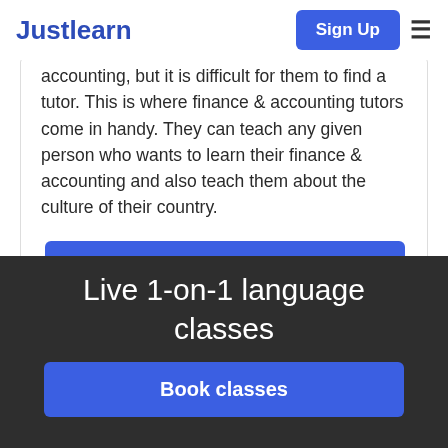Justlearn | Sign Up
accounting, but it is difficult for them to find a tutor. This is where finance & accounting tutors come in handy. They can teach any given person who wants to learn their finance & accounting and also teach them about the culture of their country.
Get Started
Live 1-on-1 language classes
Book classes